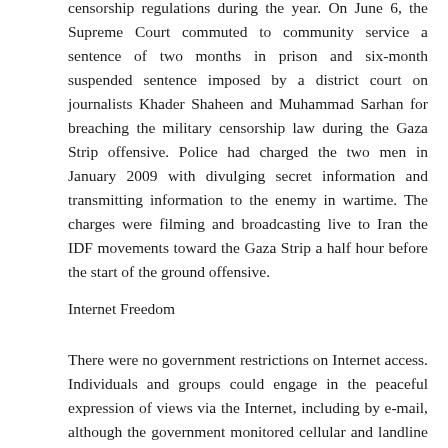censorship regulations during the year. On June 6, the Supreme Court commuted to community service a sentence of two months in prison and six-month suspended sentence imposed by a district court on journalists Khader Shaheen and Muhammad Sarhan for breaching the military censorship law during the Gaza Strip offensive. Police had charged the two men in January 2009 with divulging secret information and transmitting information to the enemy in wartime. The charges were filming and broadcasting live to Iran the IDF movements toward the Gaza Strip a half hour before the start of the ground offensive.
Internet Freedom
There were no government restrictions on Internet access. Individuals and groups could engage in the peaceful expression of views via the Internet, including by e-mail, although the government monitored cellular and landline telephones and Internet service providers for security purposes. The International